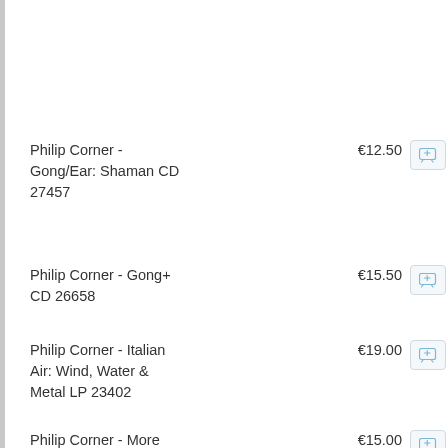Philip Corner - Gong/Ear: Shaman CD 27457
Philip Corner - Gong+ CD 26658
Philip Corner - Italian Air: Wind, Water & Metal LP 23402
Philip Corner - More from the Judson Years